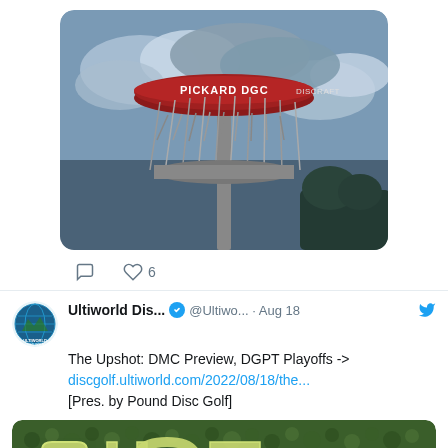[Figure (photo): A Discraft branded disc golf basket/target labeled 'PICKARD DGC' against a cloudy sky background]
6
Ultiworld Dis... @Ultiwo... · Aug 18
The Upshot: DMC Preview, DGPT Playoffs ->
discgolf.ultiworld.com/2022/08/18/the...
[Pres. by Pound Disc Golf]
[Figure (photo): Aerial view of disc golf course holes arranged to spell out 'SHOT' in large letters visible from above]